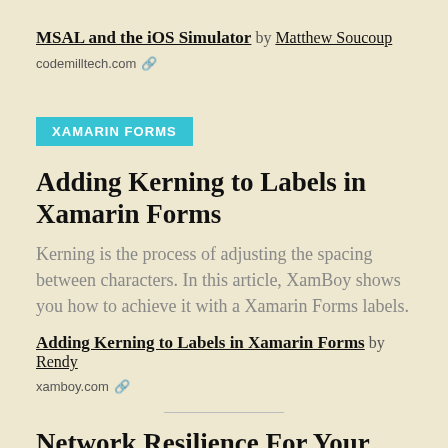MSAL and the iOS Simulator by Matthew Soucoup
codemilltech.com 🔗
XAMARIN FORMS
Adding Kerning to Labels in Xamarin Forms
Kerning is the process of adjusting the spacing between characters. In this article, XamBoy shows you how to achieve it with a Xamarin Forms labels.
Adding Kerning to Labels in Xamarin Forms by Rendy
xamboy.com 🔗
Network Resilience For Your App With Polly